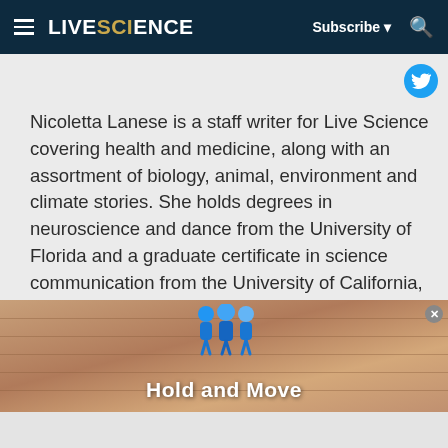LIVE SCIENCE  Subscribe  🔍
Nicoletta Lanese is a staff writer for Live Science covering health and medicine, along with an assortment of biology, animal, environment and climate stories. She holds degrees in neuroscience and dance from the University of Florida and a graduate certificate in science communication from the University of California, Santa Cruz. Her work has appeared in The Scientist Magazine, Science News, The San Jose
[Figure (illustration): Ad banner showing a foosball/board game scene with blue player figures and the text 'Hold and Move' in white bold letters on a wooden-textured background.]